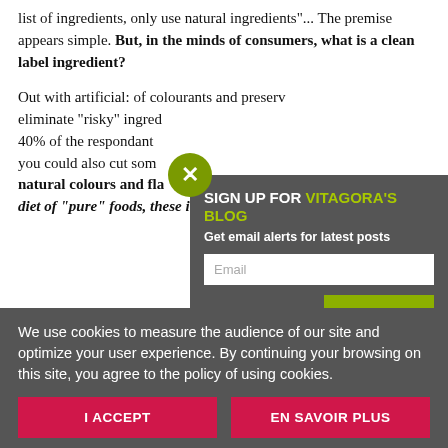list of ingredients, only use natural ingredients"... The premise appears simple. But, in the minds of consumers, what is a clean label ingredient?
Out with artificial: of course, artificial colourants and preservatives... but also, eliminate "risky" ingredients. In our study, 40% of the respondants considered that you could also cut some natural colours and flavours. Used to a diet of "pure" foods, these ingredients are understood
[Figure (screenshot): Email newsletter signup modal for Vitagora's Blog with close button, email input field and Sign up button]
We use cookies to measure the audience of our site and optimize your user experience. By continuing your browsing on this site, you agree to the policy of using cookies.
I ACCEPT
EN SAVOIR PLUS